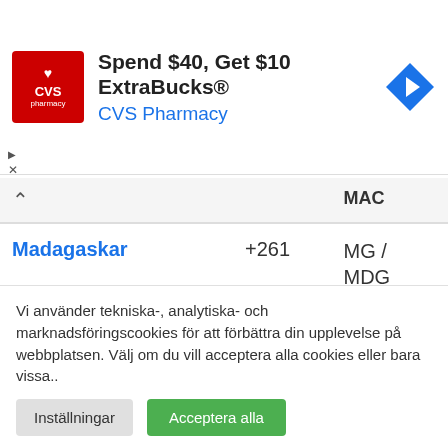[Figure (screenshot): CVS Pharmacy advertisement banner: red logo with heart and CVS pharmacy text, 'Spend $40, Get $10 ExtraBucks®' headline, 'CVS Pharmacy' subtitle in blue, blue diamond navigation arrow icon on right]
|  |  | MAC |
| --- | --- | --- |
| Madagaskar | +261 | MG / MDG |
| Malawi | +265 | MW / MWI |
| Malaysia (partial) | +60 | MY / |
Vi använder tekniska-, analytiska- och marknadsföringscookies för att förbättra din upplevelse på webbplatsen. Välj om du vill acceptera alla cookies eller bara vissa..
Inställningar | Acceptera alla